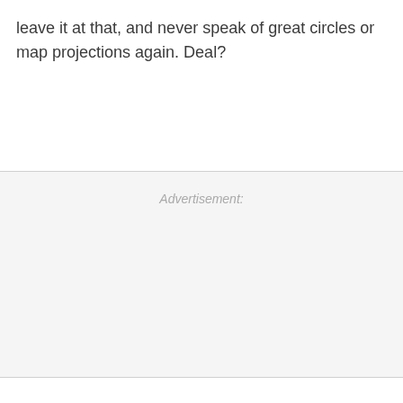leave it at that, and never speak of great circles or map projections again. Deal?
Advertisement: